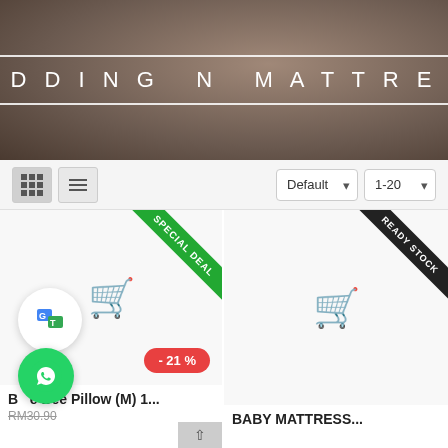[Figure (screenshot): E-commerce website header for 'BEDDING N MATTRESS' with brown/beige blurred background and white bordered title box]
BEDDING N MATTRESS
[Figure (screenshot): Toolbar with grid/list view toggle buttons and Default and 1-20 dropdown selectors]
[Figure (screenshot): Product card 1: Bumble Bee Pillow (M) 1... with SPECIAL DEAL ribbon, -21% discount badge, RM30.90 strikethrough price]
[Figure (screenshot): Product card 2: BABY MATTRESS... with READY STOCK ribbon]